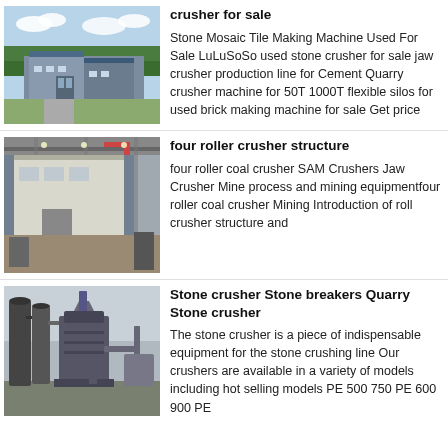[Figure (photo): Aerial view of a large industrial factory complex with blue roofs surrounded by trees]
crusher for sale
Stone Mosaic Tile Making Machine Used For Sale LuLuSoSo used stone crusher for sale jaw crusher production line for Cement Quarry crusher machine for 50T 1000T flexible silos for used brick making machine for sale Get price
[Figure (photo): Interior of an industrial facility showing a large white metal building structure inside a factory hall with crane visible]
four roller crusher structure
four roller coal crusher SAM Crushers Jaw Crusher Mine process and mining equipmentfour roller coal crusher Mining Introduction of roll crusher structure and
[Figure (photo): Industrial stone crushing equipment outdoors with dust collection cylinders and large machinery]
Stone crusher Stone breakers Quarry Stone crusher
The stone crusher is a piece of indispensable equipment for the stone crushing line Our crushers are available in a variety of models including hot selling models PE 500 750 PE 600 900 PE